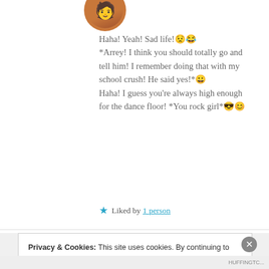[Figure (illustration): Circular avatar with cartoon illustration of a person]
Haha! Yeah! Sad life!😟😂
*Arrey! I think you should totally go and tell him! I remember doing that with my school crush! He said yes!*😀
Haha! I guess you're always high enough for the dance floor! *You rock girl*😎😊
★ Liked by 1 person
Privacy & Cookies: This site uses cookies. By continuing to use this website, you agree to their use.
To find out more, including how to control cookies, see here: Cookie Policy
Close and accept